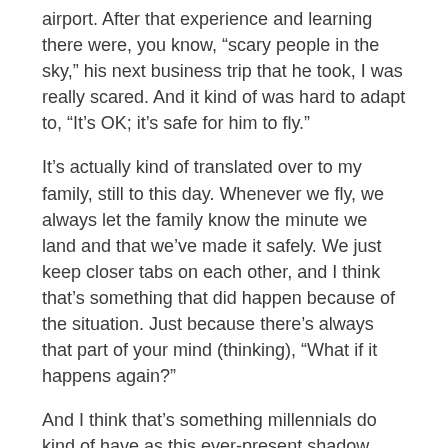airport. After that experience and learning there were, you know, “scary people in the sky,” his next business trip that he took, I was really scared. And it kind of was hard to adapt to, “It’s OK; it’s safe for him to fly.”
It’s actually kind of translated over to my family, still to this day. Whenever we fly, we always let the family know the minute we land and that we’ve made it safely. We just keep closer tabs on each other, and I think that’s something that did happen because of the situation. Just because there’s always that part of your mind (thinking), “What if it happens again?”
And I think that’s something millennials do kind of have as this ever-present shadow over our shoulders. … What’s going to be the next tragedy that hits?
I think we’re kind of hitting a point where we’re almost desensitized to tragedy and loss because, you know, Columbine and 9/11, and all of these things happened